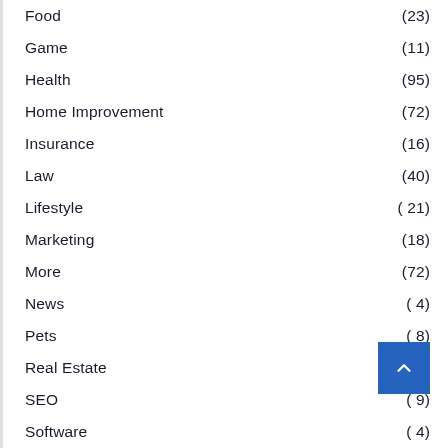Food (23)
Game (11)
Health (95)
Home Improvement (72)
Insurance (16)
Law (40)
Lifestyle (21)
Marketing (18)
More (72)
News (4)
Pets (8)
Real Estate
SEO (9)
Software (4)